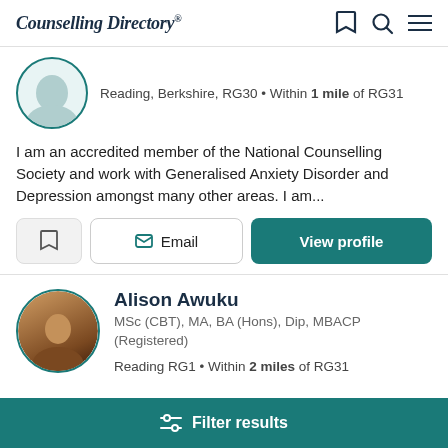Counselling Directory
Reading, Berkshire, RG30 • Within 1 mile of RG31
I am an accredited member of the National Counselling Society and work with Generalised Anxiety Disorder and Depression amongst many other areas. I am...
Email   View profile
Alison Awuku
MSc (CBT), MA, BA (Hons), Dip, MBACP (Registered)
Reading RG1 • Within 2 miles of RG31
Filter results